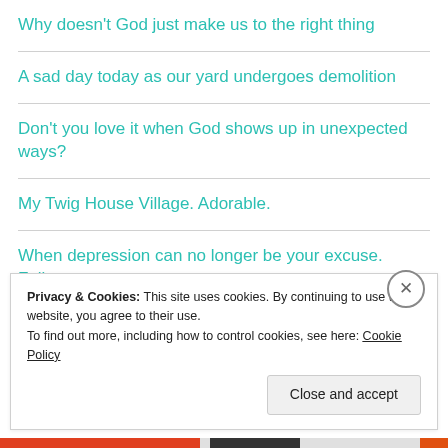Why doesn't God just make us to the right thing
A sad day today as our yard undergoes demolition
Don't you love it when God shows up in unexpected ways?
My Twig House Village. Adorable.
When depression can no longer be your excuse. Follow up.
Privacy & Cookies: This site uses cookies. By continuing to use this website, you agree to their use.
To find out more, including how to control cookies, see here: Cookie Policy